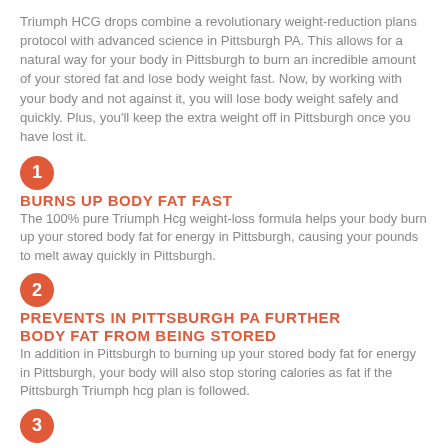Triumph HCG drops combine a revolutionary weight-reduction plans protocol with advanced science in Pittsburgh PA. This allows for a natural way for your body in Pittsburgh to burn an incredible amount of your stored fat and lose body weight fast. Now, by working with your body and not against it, you will lose body weight safely and quickly. Plus, you'll keep the extra weight off in Pittsburgh once you have lost it.
1 BURNS UP BODY FAT FAST
The 100% pure Triumph Hcg weight-loss formula helps your body burn up your stored body fat for energy in Pittsburgh, causing your pounds to melt away quickly in Pittsburgh.
2 PREVENTS IN PITTSBURGH PA FURTHER BODY FAT FROM BEING STORED
In addition in Pittsburgh to burning up your stored body fat for energy in Pittsburgh, your body will also stop storing calories as fat if the Pittsburgh Triumph hcg plan is followed.
3 APPETITE SUPPRESSION